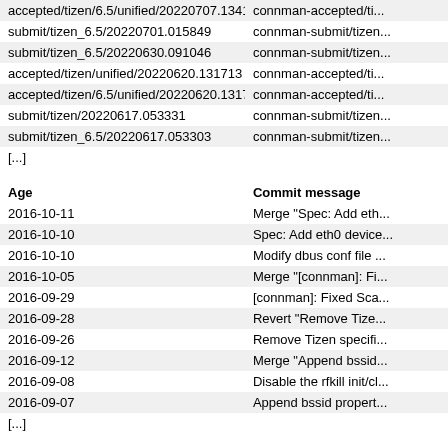| Branch | Commit message |
| --- | --- |
| accepted/tizen/6.5/unified/20220707.134158 | connman-accepted/ti... |
| submit/tizen_6.5/20220701.015849 | connman-submit/tizen... |
| submit/tizen_6.5/20220630.091046 | connman-submit/tizen... |
| accepted/tizen/unified/20220620.131713 | connman-accepted/ti... |
| accepted/tizen/6.5/unified/20220620.131707 | connman-accepted/ti... |
| submit/tizen/20220617.053331 | connman-submit/tizen... |
| submit/tizen_6.5/20220617.053303 | connman-submit/tizen... |
[...]
| Age | Commit message |
| --- | --- |
| 2016-10-11 | Merge "Spec: Add eth... |
| 2016-10-10 | Spec: Add eth0 device... |
| 2016-10-10 | Modify dbus conf file ... |
| 2016-10-05 | Merge "[connman]: Fi... |
| 2016-09-29 | [connman]: Fixed Sca... |
| 2016-09-28 | Revert "Remove Tize... |
| 2016-09-26 | Remove Tizen specifi... |
| 2016-09-12 | Merge "Append bssid... |
| 2016-09-08 | Disable the rfkill init/cl... |
| 2016-09-07 | Append bssid propert... |
[...]
Clone
https://git.tizen.org/cgit/platform/upstream/connman
git://git.tizen.org/platform/upstream/connman